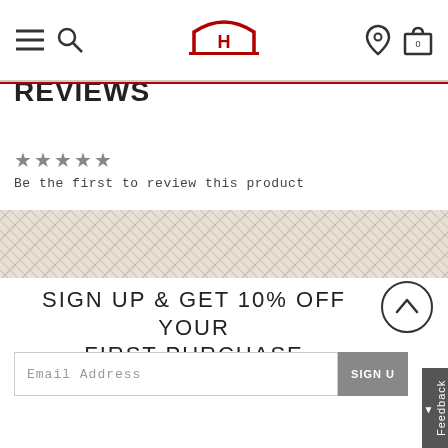[Figure (screenshot): Website navigation header with hamburger menu, search icon, H-logo in red, location pin icon, and shopping bag with 0 count]
REVIEWS
★★★★★
Be the first to review this product
[Figure (illustration): Decorative woven/herringbone pattern banner in beige/tan color]
SIGN UP & GET 10% OFF YOUR FIRST PURCHASE
Email Address
SIGN U[P]
Feedback